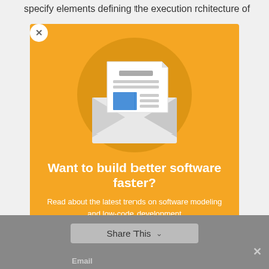specify elements defining the execution rchitecture of
[Figure (illustration): Newsletter/email illustration: an open envelope with a document inside containing a blue square image placeholder and gray text lines, all inside an orange-gold circular background]
Want to build better software faster?
Read about the latest trends on software modeling and low-code development
Share This
Email